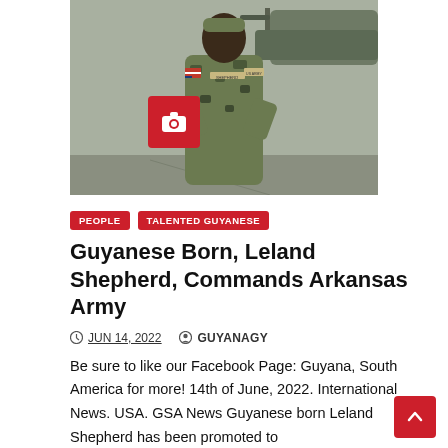[Figure (photo): Guyanese born soldier Leland Shepherd in US Army camouflage uniform with arms crossed, standing in front of a military helicopter on a tarmac. A camera icon badge is overlaid on the lower-left of the photo.]
PEOPLE
TALENTED GUYANESE
Guyanese Born, Leland Shepherd, Commands Arkansas Army
JUN 14, 2022   GUYANAGY
Be sure to like our Facebook Page: Guyana, South America for more! 14th of June, 2022. International News. USA. GSA News Guyanese born Leland Shepherd has been promoted to